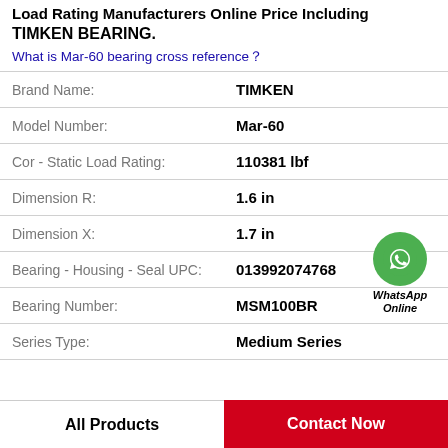Load Rating Manufacturers Online Price Including TIMKEN BEARING.
What is Mar-60 bearing cross reference？
| Attribute | Value |
| --- | --- |
| Brand Name: | TIMKEN |
| Model Number: | Mar-60 |
| Cor - Static Load Rating: | 110381 lbf |
| Dimension R: | 1.6 in |
| Dimension X: | 1.7 in |
| Bearing - Housing - Seal UPC: | 013992074768 |
| Bearing Number: | MSM100BR |
| Series Type: | Medium Series |
[Figure (logo): WhatsApp Online green circle icon with phone symbol and text 'WhatsApp Online']
All Products
Contact Now